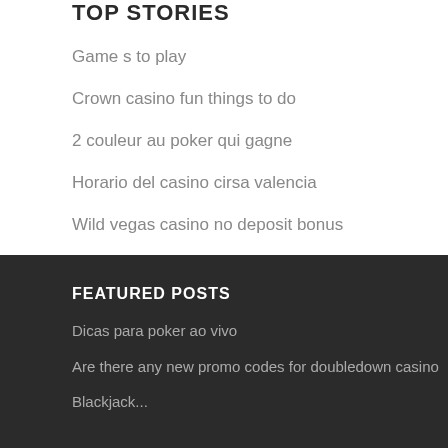TOP STORIES
Game s to play
Crown casino fun things to do
2 couleur au poker qui gagne
Horario del casino cirsa valencia
Wild vegas casino no deposit bonus
FEATURED POSTS
Dicas para poker ao vivo
Are there any new promo codes for doubledown casino
Blackjack...